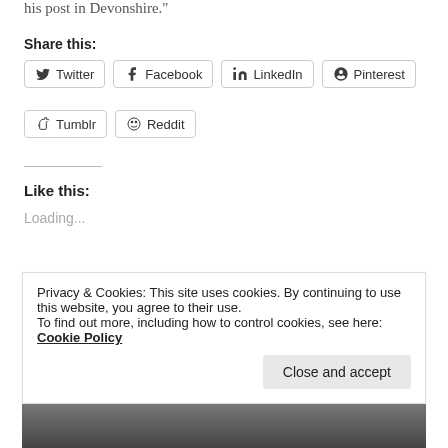his post in Devonshire."
Share this:
Twitter
Facebook
LinkedIn
Pinterest
Tumblr
Reddit
Like this:
Loading...
By Jem Bloomfield
Published on July 2, 2022
Privacy & Cookies: This site uses cookies. By continuing to use this website, you agree to their use.
To find out more, including how to control cookies, see here: Cookie Policy
Close and accept
[Figure (photo): Black and white photo at bottom of page, partially visible]